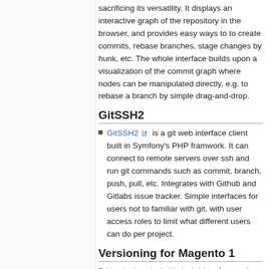sacrificing its versatility. It displays an interactive graph of the repository in the browser, and provides easy ways to to create commits, rebase branches, stage changes by hunk, etc. The whole interface builds upon a visualization of the commit graph where nodes can be manipulated directly, e.g. to rebase a branch by simple drag-and-drop.
GitSSH2
GitSSH2 is a git web interface client built in Symfony's PHP framwork. It can connect to remote servers over ssh and run git commands such as commit, branch, push, pull, etc. Integrates with Github and Gitlabs issue tracker. Simple interfaces for users not to familiar with git, with user access roles to limit what different users can do per project.
Versioning for Magento 1
Versioning (github) is a free and open source module for Magento 1...